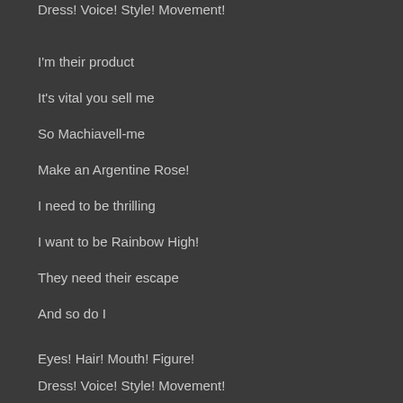Dress! Voice! Style! Movement!
I'm their product
It's vital you sell me
So Machiavell-me
Make an Argentine Rose!
I need to be thrilling
I want to be Rainbow High!
They need their escape
And so do I
Eyes! Hair! Mouth! Figure!
Dress! Voice! Style! Movement!
Hands! Magic! Rings! Glamour!